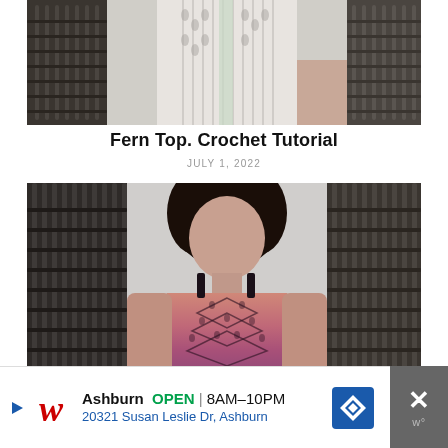[Figure (photo): Photo of a person wearing a white/cream crocheted top, standing near a dark wicker/rattan egg chair, cropped to show torso area]
Fern Top. Crochet Tutorial
JULY 1, 2022
[Figure (photo): Photo of a woman with curly dark hair wearing a pink/magenta gradient crocheted fern top with chevron lace pattern, standing in front of a dark wicker egg chair with gray background]
Ashburn  OPEN  8AM–10PM  20321 Susan Leslie Dr, Ashburn